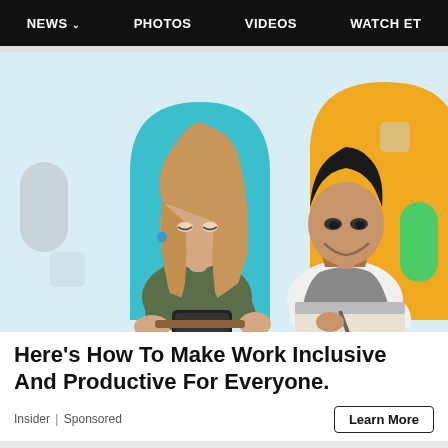NEWS  PHOTOS  VIDEOS  WATCH ET
[Figure (illustration): Advertisement image showing two people: a woman with long blonde hair looking at her phone against a cyan/blue arch background on the left, and an Asian man in a white shirt and gray apron writing on a clipboard against an orange/yellow arch background on the right. Decorative colored shapes (teal, green, gray) on light blue background.]
Here's How To Make Work Inclusive And Productive For Everyone.
Insider | Sponsored
Learn More